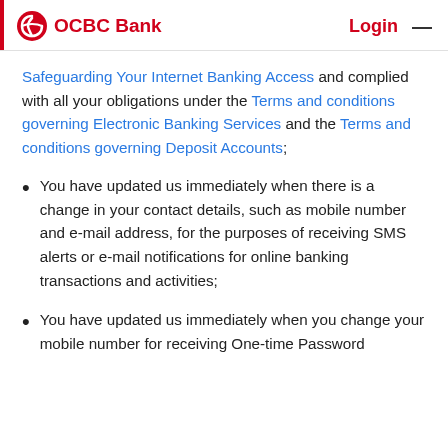OCBC Bank   Login  ≡
Safeguarding Your Internet Banking Access and complied with all your obligations under the Terms and conditions governing Electronic Banking Services and the Terms and conditions governing Deposit Accounts;
You have updated us immediately when there is a change in your contact details, such as mobile number and e-mail address, for the purposes of receiving SMS alerts or e-mail notifications for online banking transactions and activities;
You have updated us immediately when you change your mobile number for receiving One-time Password